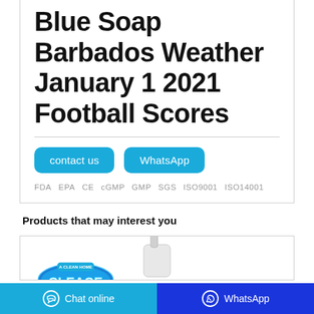Blue Soap Barbados Weather January 1 2021 Football Scores
contact us   WhatsApp
FDA  EPA  CE  cGMP  GMP  SGS  ISO9001  ISO14001
Products that may interest you
[Figure (photo): Product card showing the CLEACE branded logo and a white pump bottle dispenser on white background]
Chat online   WhatsApp